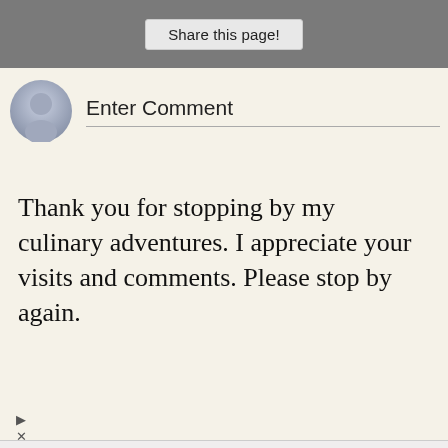Share this page!
Enter Comment
Thank you for stopping by my culinary adventures. I appreciate your visits and comments. Please stop by again.
POPULAR POSTS
[Figure (infographic): Firestone Tire Offer advertisement with Virginia Tire & Auto of Ashburn logo and blue directional arrow sign icon]
Firestone Tire Offer
Virginia Tire & Auto of Ashburn ...